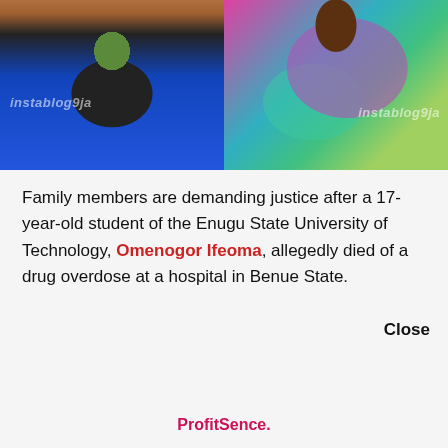[Figure (photo): Two side-by-side photos of a young woman. Left photo: wearing a black top and blue pleated skirt, with instablog9ja watermark. Right photo: wearing a colorful teal/pink/green African print outfit, with instablog9ja watermark.]
Family members are demanding justice after a 17-year-old student of the Enugu State University of Technology, Omenogor Ifeoma, allegedly died of a drug overdose at a hospital in Benue State.
Close
ProfitSence.